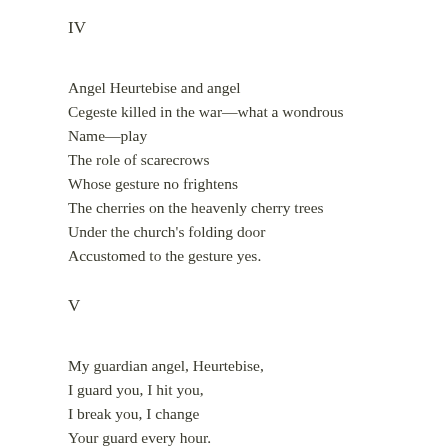IV
Angel Heurtebise and angel
Cegeste killed in the war—what a wondrous
Name—play
The role of scarecrows
Whose gesture no frightens
The cherries on the heavenly cherry trees
Under the church's folding door
Accustomed to the gesture yes.
V
My guardian angel, Heurtebise,
I guard you, I hit you,
I break you, I change
Your guard every hour.